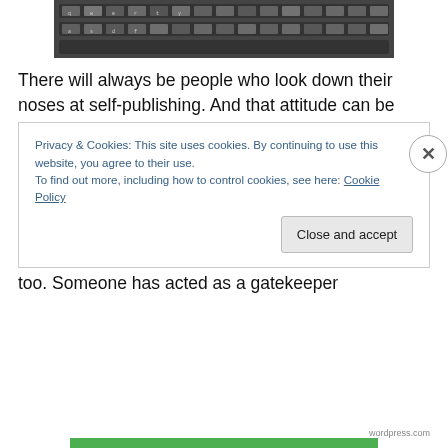[Figure (photo): Close-up photograph of typewriter keys with letters visible, shown in black and white/grayscale.]
There will always be people who look down their noses at self-publishing. And that attitude can be perfectly understandable. I think most people would prefer the validation that comes from getting a publisher in a traditional way. If a publisher has picked novel to produce – out of the tens of thousands out there – it's a way of saying your work has some merit. Readers like the traditional route too. Someone has acted as a gatekeeper
Privacy & Cookies: This site uses cookies. By continuing to use this website, you agree to their use.
To find out more, including how to control cookies, see here: Cookie Policy
Close and accept